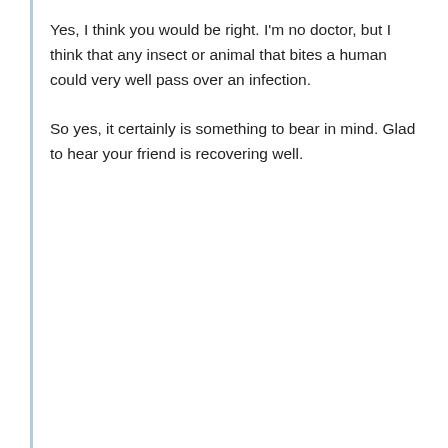Yes, I think you would be right. I'm no doctor, but I think that any insect or animal that bites a human could very well pass over an infection.

So yes, it certainly is something to bear in mind. Glad to hear your friend is recovering well.
↩
Bill January 9, 2018, 9:02 pm | ∞
Spiders (Wolf spiders or other) do not carry infections. A bite opens the skin and thus secondary infections are